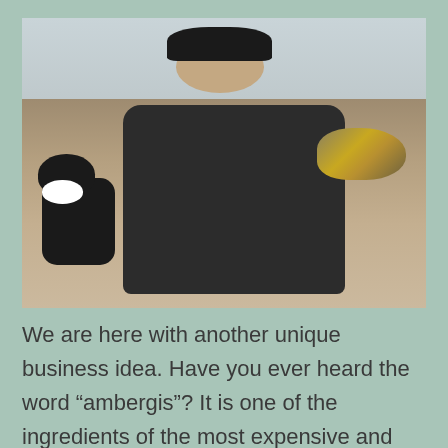[Figure (photo): A man sitting on a beach holding a large yellowish-grey rock (ambergris), with a black and white boxer dog sitting beside him. The beach is flat with sand and an overcast sky.]
We are here with another unique business idea. Have you ever heard the word “ambergis”? It is one of the ingredients of the most expensive and exotic bottled scents.